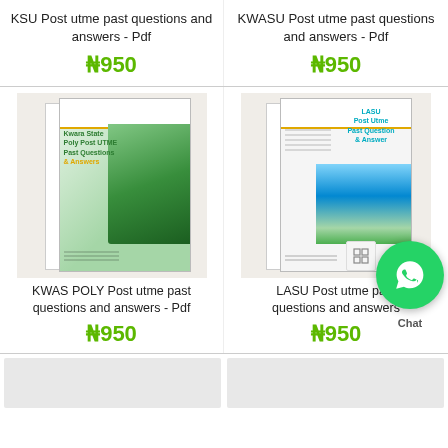KSU Post utme past questions and answers - Pdf
₦950
KWASU Post utme past questions and answers - Pdf
₦950
[Figure (photo): Book cover: Kwara State Poly Post UTME Past Questions & Answers]
[Figure (photo): Book cover: LASU Post Utme Past Question & Answer]
KWAS POLY Post utme past questions and answers - Pdf
₦950
LASU Post utme past questions and answers
₦950